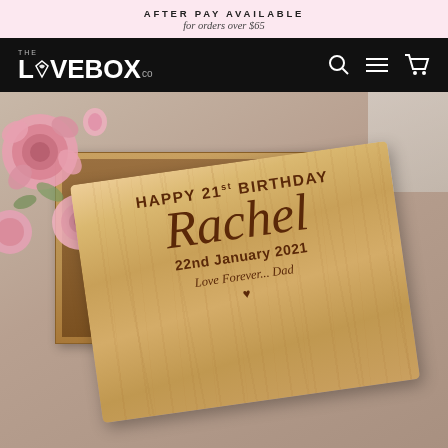AFTER PAY AVAILABLE
for orders over $65
[Figure (logo): The LoveBox Co. logo in white on black navigation bar with search, menu, and cart icons]
[Figure (photo): Personalized wooden memory box lid leaning against the box, engraved with HAPPY 21st BIRTHDAY Rachel 22nd January 2021 Love Forever... Dad with a heart, surrounded by pink roses]